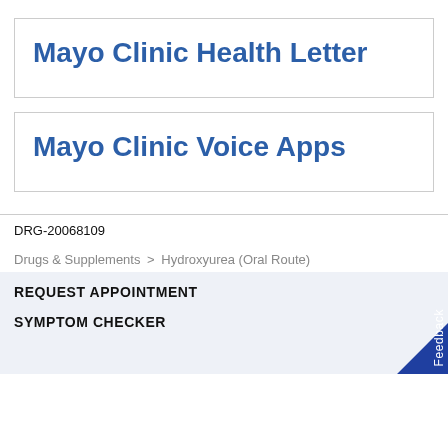Mayo Clinic Health Letter
Mayo Clinic Voice Apps
DRG-20068109
Drugs & Supplements > Hydroxyurea (Oral Route)
REQUEST APPOINTMENT
SYMPTOM CHECKER